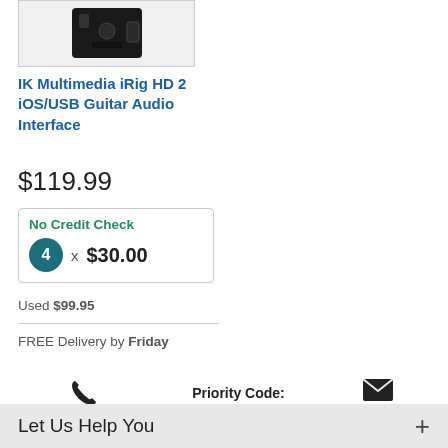[Figure (photo): Product image of IK Multimedia iRig HD 2 device shown against white background in a bordered box]
IK Multimedia iRig HD 2 iOS/USB Guitar Audio Interface
$119.99
No Credit Check
4 x $30.00
Used $99.95
FREE Delivery by Friday
800-996-8637
Priority Code:
272L-T1QJ
Email Us
Let Us Help You